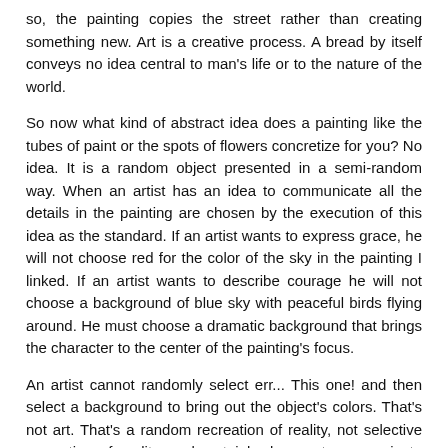so, the painting copies the street rather than creating something new. Art is a creative process. A bread by itself conveys no idea central to man's life or to the nature of the world.
So now what kind of abstract idea does a painting like the tubes of paint or the spots of flowers concretize for you? No idea. It is a random object presented in a semi-random way. When an artist has an idea to communicate all the details in the painting are chosen by the execution of this idea as the standard. If an artist wants to express grace, he will not choose red for the color of the sky in the painting I linked. If an artist wants to describe courage he will not choose a background of blue sky with peaceful birds flying around. He must choose a dramatic background that brings the character to the center of the painting's focus.
An artist cannot randomly select err... This one! and then select a background to bring out the object's colors. That's not art. That's a random recreation of reality, not selective recreation of reality, and certainly does not communicate any idea relating to metaphysics.
With that in mind, I'll answer Jackethan's post.